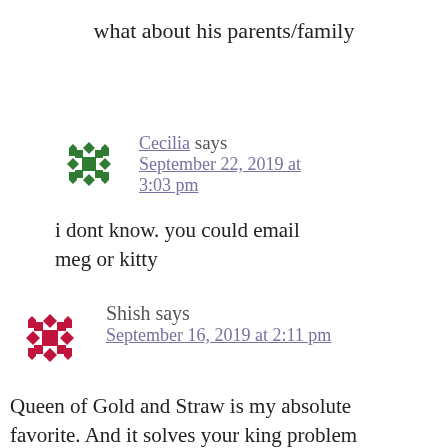what about his parents/family
Cecilia says
September 22, 2019 at 3:03 pm
i dont know. you could email meg or kitty
Shish says
September 16, 2019 at 2:11 pm
Queen of Gold and Straw is my absolute favorite. And it solves your king problem